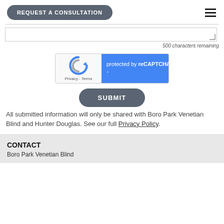REQUEST A CONSULTATION
500 characters remaining
[Figure (screenshot): reCAPTCHA widget with Google logo on left (white background, Privacy - Terms links) and blue right panel with text 'protected by reCAPTCHA']
SUBMIT
All submitted information will only be shared with Boro Park Venetian Blind and Hunter Douglas. See our full Privacy Policy.
CONTACT
Boro Park Venetian Blind